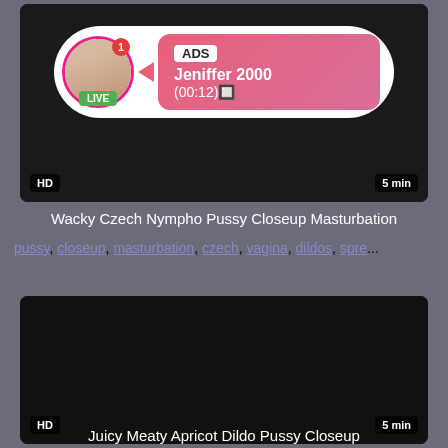[Figure (screenshot): Video thumbnail with HD badge, 5 min duration, and an ad overlay showing a live profile (Jeniffer 2000, 00:12) with LIVE badge]
Wacky Czech Nympho Pussy Closeup Masturbation
pussy, closeup, masturbation, czech, vagina, dildos, spre...
[Figure (screenshot): Dark video thumbnail with HD badge and 5 min duration label]
Juicy Meaty Apricot Dildo Pussy Closeup